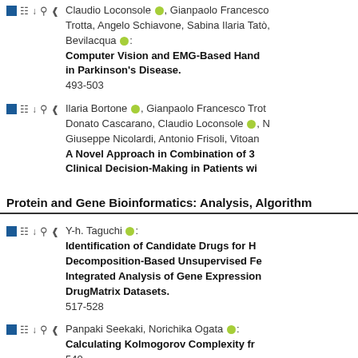Claudio Loconsole, Gianpaolo Francesco Trotta, Angelo Schiavone, Sabina Ilaria Tatò, Bevilacqua: Computer Vision and EMG-Based Hand... in Parkinson's Disease. 493-503
Ilaria Bortone, Gianpaolo Francesco Trot..., Donato Cascarano, Claudio Loconsole, N..., Giuseppe Nicolardi, Antonio Frisoli, Vitoan... A Novel Approach in Combination of 3... Clinical Decision-Making in Patients wi...
Protein and Gene Bioinformatics: Analysis, Algorithm...
Y-h. Taguchi: Identification of Candidate Drugs for H... Decomposition-Based Unsupervised Fe... Integrated Analysis of Gene Expression... DrugMatrix Datasets. 517-528
Panpaki Seekaki, Norichika Ogata: Calculating Kolmogorov Complexity fr... 540